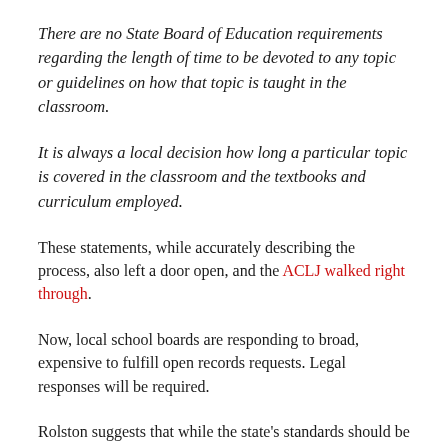There are no State Board of Education requirements regarding the length of time to be devoted to any topic or guidelines on how that topic is taught in the classroom.
It is always a local decision how long a particular topic is covered in the classroom and the textbooks and curriculum employed.
These statements, while accurately describing the process, also left a door open, and the ACLJ walked right through.
Now, local school boards are responding to broad, expensive to fulfill open records requests. Legal responses will be required.
Rolston suggests that while the state's standards should be rigorous, a local district can spend less time on topics that may be the subject of the controversy of the day.